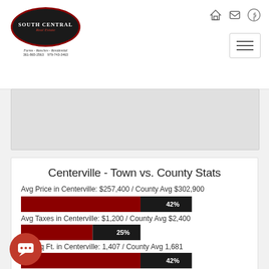[Figure (logo): South Central Real Estate logo — dark oval with red border, white text, subtitle: Farms - Ranches - Residential, phone numbers 361-865-2563 and 979-743-3463]
Centerville - Town vs. County Stats
Avg Price in Centerville: $257,400 / County Avg $302,900
[Figure (bar-chart): Avg Price bar]
Avg Taxes in Centerville: $1,200 / County Avg $2,400
[Figure (bar-chart): Avg Taxes bar]
Avg Sq Ft. in Centerville: 1,407 / County Avg 1,681
[Figure (bar-chart): Avg Sq Ft bar]